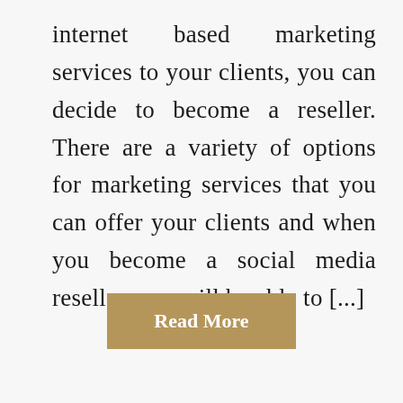internet based marketing services to your clients, you can decide to become a reseller. There are a variety of options for marketing services that you can offer your clients and when you become a social media reseller, you will be able to [...]
Read More